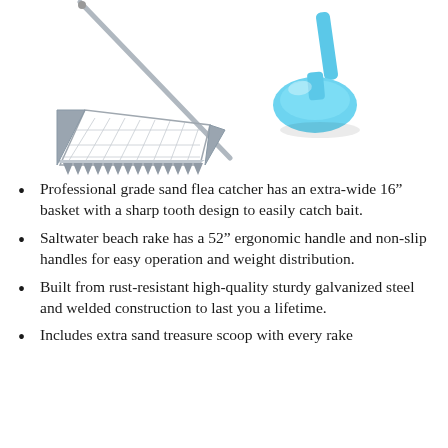[Figure (photo): A metal sand flea rake/catcher with a long stainless steel handle and a wide basket with sharp tooth design, alongside a light blue plastic sand scoop.]
Professional grade sand flea catcher has an extra-wide 16" basket with a sharp tooth design to easily catch bait.
Saltwater beach rake has a 52" ergonomic handle and non-slip handles for easy operation and weight distribution.
Built from rust-resistant high-quality sturdy galvanized steel and welded construction to last you a lifetime.
Includes extra sand treasure scoop with every rake